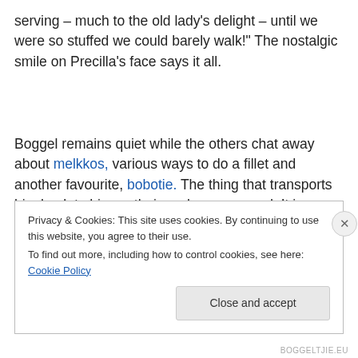serving – much to the old lady's delight – until we were so stuffed we could barely walk!" The nostalgic smile on Precilla's face says it all.
Boggel remains quiet while the others chat away about melkkos, various ways to do a fillet and another favourite, bobotie. The thing that transports him back to his youth, is no longer around. It is politically incorrect. It is
Privacy & Cookies: This site uses cookies. By continuing to use this website, you agree to their use.
To find out more, including how to control cookies, see here: Cookie Policy
Close and accept
BOGGELTJIE.EU